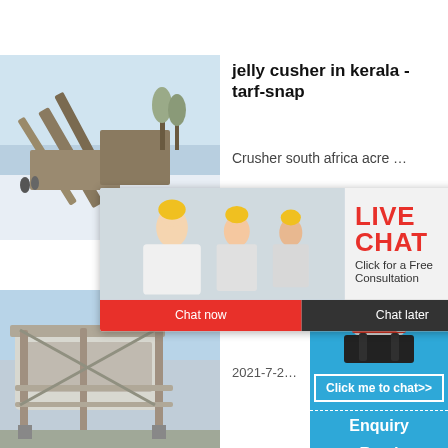[Figure (photo): Industrial crushing plant with conveyor belts in winter/snowy setting]
jelly cusher in kerala - tarf-snap
Crusher south africa acre ...
[Figure (screenshot): Live chat popup overlay with workers in hard hats, red LIVE CHAT heading, 'Click for a Free Consultation', Chat now and Chat later buttons]
[Figure (photo): Blue sidebar showing cone crusher machine and click me to chat button, Enquiry, Read, limingjlmofen links]
[Figure (photo): Industrial screening/crushing equipment outdoors]
new mo crusher
2021-7-2...